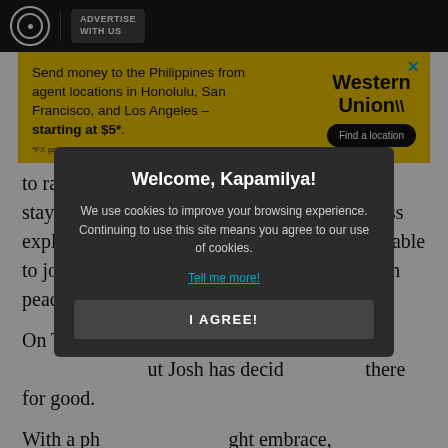ABS-CBN | ADVERTISE WITH US
[Figure (infographic): Western Union advertisement banner: 'Send money to the Philippines from agent locations in Honolulu, San Francisco, and Los Angeles – starting at $5*. *FX gains apply.' with 'Western Union' branding and 'Find a location' button on yellow background.]
to ranae where her older son Josh has been staying. In an earlier Instagram post, the actress explained that Josh enjoys the place for being able to jog, ride his a bike, and enjoy the fresh air in peace.
On Thursday, ... and Bimby are ... but Josh has decided ... there for good.
With a photo ... tight embrace, she told her followers, 'Namimiss na si Kuya Josh, gusto na niya talagang tumira sa Alto (our family compound), in what he calls Lola's house', in
[Figure (screenshot): Cookie consent modal overlay with dark background. Title: 'Welcome, Kapamilya!' Body: 'We use cookies to improve your browsing experience. Continuing to use this site means you agree to our use of cookies.' Link: 'Tell me more!' Button: 'I AGREE!']